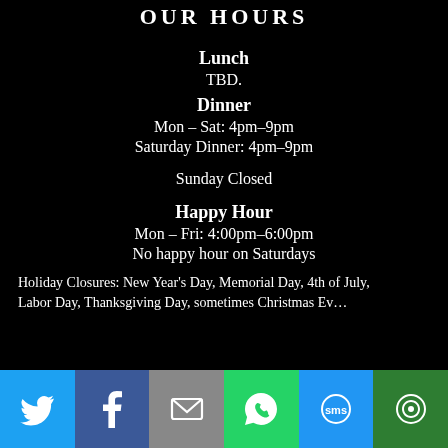OUR HOURS
Lunch
TBD.
Dinner
Mon – Sat: 4pm–9pm
Saturday Dinner: 4pm–9pm
Sunday Closed
Happy Hour
Mon – Fri: 4:00pm–6:00pm
No happy hour on Saturdays
Holiday Closures: New Year's Day, Memorial Day, 4th of July, Labor Day, Thanksgiving Day, sometimes Christmas Ev…